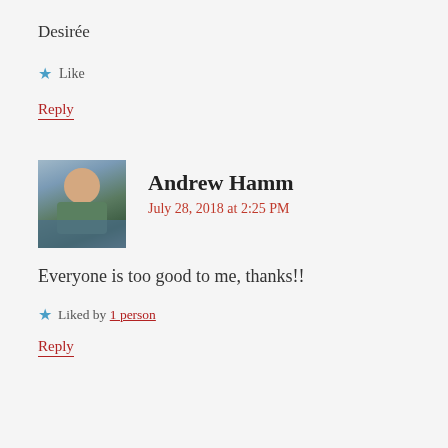Desirée
★ Like
Reply
[Figure (photo): Profile photo of Andrew Hamm, a young man smiling outdoors]
Andrew Hamm
July 28, 2018 at 2:25 PM
Everyone is too good to me, thanks!!
★ Liked by 1 person
Reply